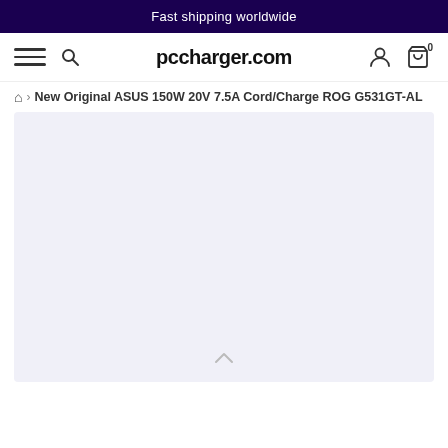Fast shipping worldwide
pccharger.com
New Original ASUS 150W 20V 7.5A Cord/Charge ROG G531GT-AL
[Figure (photo): Product image area, light lavender/gray background, empty placeholder for product photo with scroll-up arrow at bottom center]